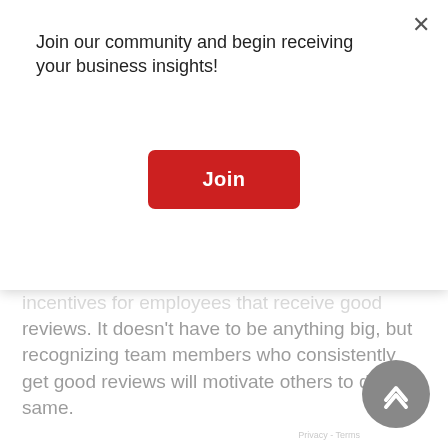incentives for employees that receive good reviews. It doesn't have to be anything big, but recognizing team members who consistently get good reviews will motivate others to do the same.
An effective profile on Facebook, Yelp, Google, or any other platform requires fresh material. Getting a bunch of initial reviews and then nothing after that looks fake and contrived, and many review sites filter out those kinds of profiles.
Make it an easy delivery
Join our community and begin receiving your business insights!
[Figure (other): Red 'Join' button in a modal dialog with close (×) button]